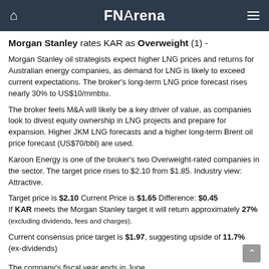FNArena
Morgan Stanley rates KAR as Overweight (1) -
Morgan Stanley oil strategists expect higher LNG prices and returns for Australian energy companies, as demand for LNG is likely to exceed current expectations. The broker's long-term LNG price forecast rises nearly 30% to US$10/mmbtu.
The broker feels M&A will likely be a key driver of value, as companies look to divest equity ownership in LNG projects and prepare for expansion. Higher JKM LNG forecasts and a higher long-term Brent oil price forecast (US$70/bbl) are used.
Karoon Energy is one of the broker's two Overweight-rated companies in the sector. The target price rises to $2.10 from $1.85. Industry view: Attractive.
Target price is $2.10 Current Price is $1.65 Difference: $0.45 If KAR meets the Morgan Stanley target it will return approximately 27% (excluding dividends, fees and charges).
Current consensus price target is $1.97, suggesting upside of 11.7% (ex-dividends)
The company's fiscal year ends in June.